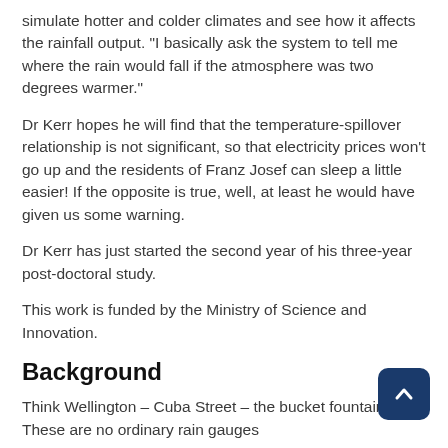simulate hotter and colder climates and see how it affects the rainfall output. "I basically ask the system to tell me where the rain would fall if the atmosphere was two degrees warmer."
Dr Kerr hopes he will find that the temperature-spillover relationship is not significant, so that electricity prices won't go up and the residents of Franz Josef can sleep a little easier! If the opposite is true, well, at least he would have given us some warning.
Dr Kerr has just started the second year of his three-year post-doctoral study.
This work is funded by the Ministry of Science and Innovation.
Background
Think Wellington – Cuba Street – the bucket fountain These are no ordinary rain gauges
A standard rain gauge is made up of a funnel that guides l onto one of two small buckets on either end of a see-saw. Like